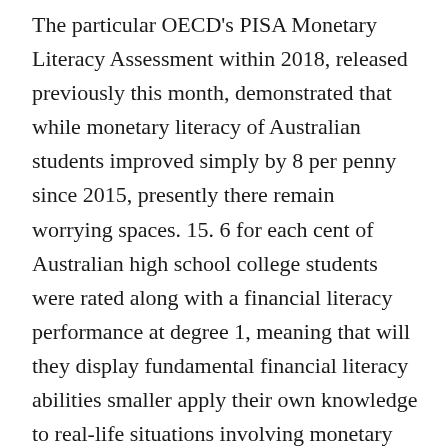The particular OECD's PISA Monetary Literacy Assessment within 2018, released previously this month, demonstrated that while monetary literacy of Australian students improved simply by 8 per penny since 2015, presently there remain worrying spaces. 15. 6 for each cent of Australian high school college students were rated along with a financial literacy performance at degree 1, meaning that will they display fundamental financial literacy abilities smaller apply their own knowledge to real-life situations involving monetary issues and choices. Basic financial literacy includes recognising requirements and wants, producing decisions on daily spending such because comparing price for each unit, and using basic single numerical operations in acquainted contexts. Adults along with lower incomes plus less education may place a higher value on the spouse or partner's capability to provide for a family –